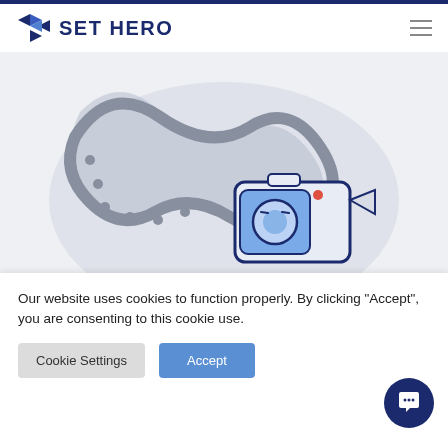[Figure (logo): Set Hero logo with angular chevron/camera shutter icon in dark navy blue, followed by bold text SET HERO in dark navy]
[Figure (illustration): Illustration of a film strip and a video camera on a light grey oval background, with navy and blue color scheme]
Making a film soon?
We can help you organize your
Our website uses cookies to function properly. By clicking "Accept", you are consenting to this cookie use.